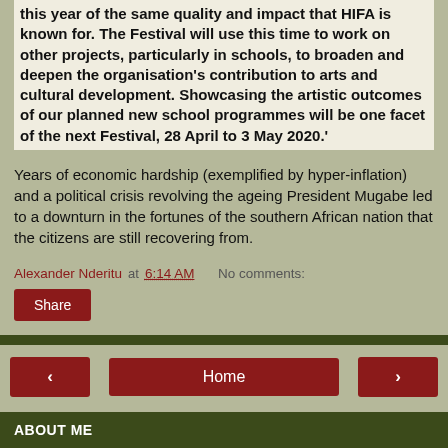this year of the same quality and impact that HIFA is known for. The Festival will use this time to work on other projects, particularly in schools, to broaden and deepen the organisation's contribution to arts and cultural development. Showcasing the artistic outcomes of our planned new school programmes will be one facet of the next Festival, 28 April to 3 May 2020.'
Years of economic hardship (exemplified by hyper-inflation) and a political crisis revolving the ageing President Mugabe led to a downturn in the fortunes of the southern African nation that the citizens are still recovering from.
Alexander Nderitu at 6:14 AM   No comments:
Share
‹
Home
›
View web version
ABOUT ME